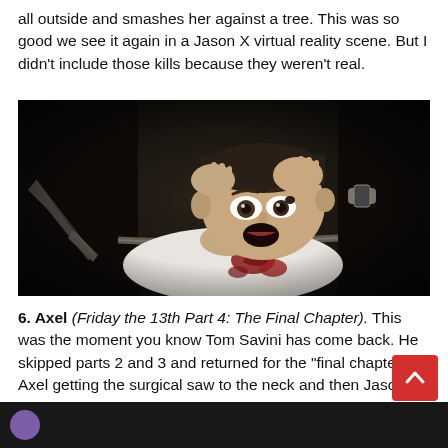all outside and smashes her against a tree. This was so good we see it again in a Jason X virtual reality scene. But I didn't include those kills because they weren't real.
[Figure (photo): Movie still showing a man lying on his back with a panicked expression, a blade visible near his face, wearing a white shirt with blood stains, hands raised near his head. Dark, horror-film scene.]
6. Axel (Friday the 13th Part 4: The Final Chapter). This was the moment you know Tom Savini has come back. He skipped parts 2 and 3 and returned for the "final chapter." Axel getting the surgical saw to the neck and then Jason twisting his head around is what nightmares are made of.
[Figure (photo): Bottom strip of a dark movie still, partially visible, showing the beginning of another scene.]